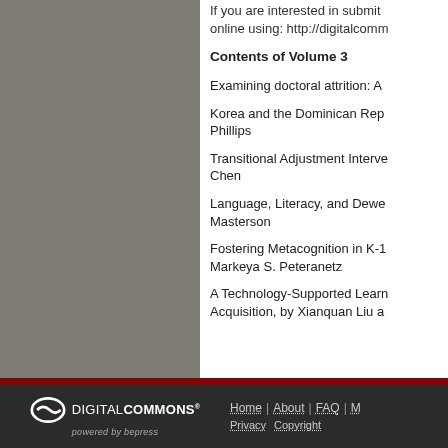If you are interested in submitting... online using: http://digitalcomm...
Contents of Volume 3
Examining doctoral attrition: A...
Korea and the Dominican Rep... Phillips
Transitional Adjustment Interve... Chen
Language, Literacy, and Dewe... Masterson
Fostering Metacognition in K-1... Markeya S. Peteranetz
A Technology-Supported Learn... Acquisition, by Xianquan Liu a...
[Figure (logo): DigitalCommons powered by bepress logo in white on dark background]
Home | About | FAQ | M... Privacy Copyright